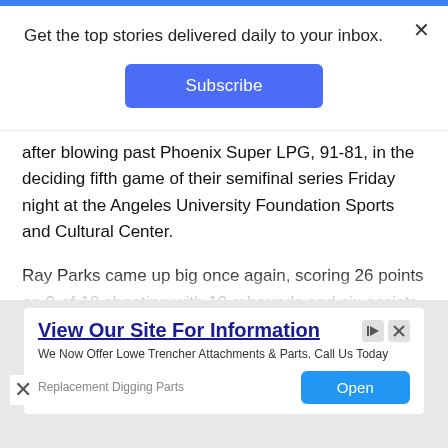[Figure (screenshot): Blue horizontal top navigation bar]
Get the top stories delivered daily to your inbox.
[Figure (other): Subscribe button — blue rounded rectangle with white text 'Subscribe']
after blowing past Phoenix Super LPG, 91-81, in the deciding fifth game of their semifinal series Friday night at the Angeles University Foundation Sports and Cultural Center.
Ray Parks came up big once again, scoring 26 points on 9-of-18 shooting with 10 rebounds and six assists in a performance that enabled the Tropang Giga to advance to the championship series for the 19th time.
[Figure (screenshot): Advertisement banner: 'View Our Site For Information' — We Now Offer Lowe Trencher Attachments & Parts. Call Us Today. Replacement Digging Parts. Open button.]